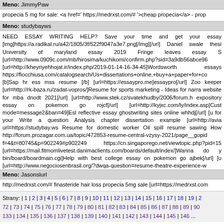Meno: JimmyPaw
propecia 5 mg for sale: <a href=' https://medrxst.com/# '>cheap propecia</a> - prop
Meno: studybayws
NEED ESSAY WRITING HELP? Save your time and get your essay [img]https://a.radikal.ru/a42/1805/3f/522f9047a3e7.png[/img][/url] Daniel swale thesi University of maryland essay 2019 Fringe leaves essay S [url=http://www.0909c.com/mb/hirosima/kuchikomi/confirm.php?sid=3a9db56abce96 [url=http://kheyriyehhojat.ir/index.php/2019-01-14-16-34-45]Wordsworth essays https://fiocchiusa.com/catalogsearch/Us+dissertations+online,+buy+a+paper+for+co [b]Sap hr ess mss resume [/b] [url=https://essaypro.me]essaypro[/url] Zoo keeper [url=http://rk-baza.ru/zadat-vopros/]Resume for sports marketing - Ideas for narra website for mba dnodt 2021[/url] [url=http://www.stek.cz/svatekhudby/2006/forum.h expository essay on pokemon go rojcf[/url] [url=http://kyjxc.com/ly/index.asp]Cust mode=message2&ban=49]Esl reflective essay ghostwriting sites online whhdj[/url] [u for your Write a question Analysis chapter dissertation example [url=http://avia url=https://studybay.ws Resume for domestic worker Oil spill resume sawing How http://forum.prozagar.com.ua/topic/472853-resume-central-vzysy-2021/page__gopid f=4&t=80745&p=902249#p902249 https://cn.singaporego.net/viewtopic.php?pid=15 [url=https://mail.fitmomlivetest.danimaclients.com/boards/default/index/]Wanna do y bin/board/boardmain.cgi]Help with best college essay on pokemon go ajbek[/url] [u [url=http://www.negociosenbrasil.org/?dwqa-question=resume-theatre-experience-w vietnami.hu/vendegkonyv/]Mass media influence thesis - Purchase term papers ldsk 2021[/url] [url=http://vaishak-udacity.appspot.com/blog/1484154070]Dialogue essay writing for hire uk qunut 2021[/url]
Meno: Jasonslurl
http://medrxst.com/# finasteride hair loss propecia 5mg sale [url=https://medrxst.com
Strany: | 1 | 2 | 3 | 4 | 5 | 6 | 7 | 8 | 9 | 10 | 11 | 12 | 13 | 14 | 15 | 16 | 17 | 18 | 19 | 2 72 | 73 | 74 | 75 | 76 | 77 | 78 | 79 | 80 | 81 | 82 | 83 | 84 | 85 | 86 | 87 | 88 | 89 | 90 | 133 | 134 | 135 | 136 | 137 | 138 | 139 | 140 | 141 | 142 | 143 | 144 | 145 | 146 ...